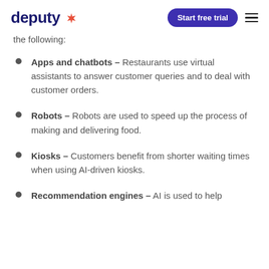deputy [logo] | Start free trial | [menu]
the following:
Apps and chatbots – Restaurants use virtual assistants to answer customer queries and to deal with customer orders.
Robots – Robots are used to speed up the process of making and delivering food.
Kiosks – Customers benefit from shorter waiting times when using AI-driven kiosks.
Recommendation engines – AI is used to help